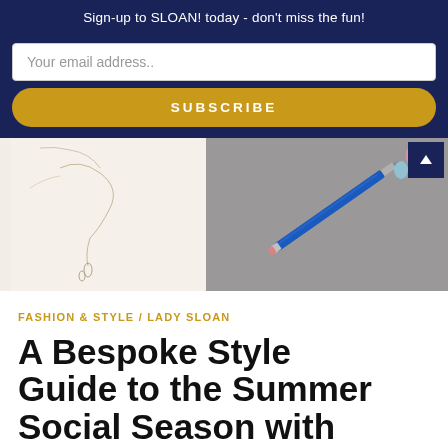Sign-up to SLOAN! today - don't miss the fun!
Your email address..
SUBSCRIBE
[Figure (photo): Split image: left side shows a fashion sketch on white paper with a necklace drawing; right side shows a blue pencil/pen resting on a gray surface with colorful gem illustrations in the top right corner.]
FASHION & STYLE / LADY SLOAN
A Bespoke Style Guide to the Summer Social Season with W&W